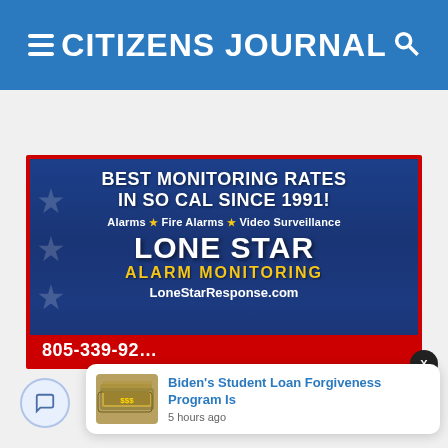CITIZENS JOURNAL
[Figure (infographic): Advertisement for Lone Star Alarm Monitoring. Blue background with red border. Text: BEST MONITORING RATES IN SO CAL SINCE 1991! Alarms ★ Fire Alarms ★ Video Surveillance. LONE STAR ALARM MONITORING. LoneStarResponse.com. Phone: 805-339-92XX. Red phone bar at bottom.]
Biden's Student Loan Forgiveness Program Is
5 hours ago